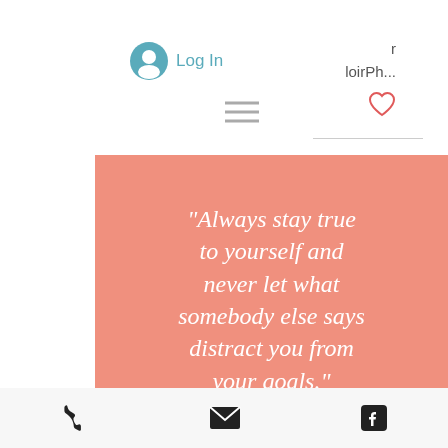[Figure (screenshot): Mobile website screenshot showing a Log In button with user avatar icon on the left, partial username 'r loirPh...' on the right, a hamburger menu icon, a heart/like icon, a horizontal rule, a salmon/peach colored quote image with white script text reading: "Always stay true to yourself and never let what somebody else says distract you from your goals." and a bottom navigation bar with phone, email, and Facebook icons.]
Log In
r
loirPh...
[Figure (illustration): Salmon/peach background quote image with white italic/script text: "Always stay true to yourself and never let what somebody else says distract you from your goals."]
"Always stay true to yourself and never let what somebody else says distract you from your goals."